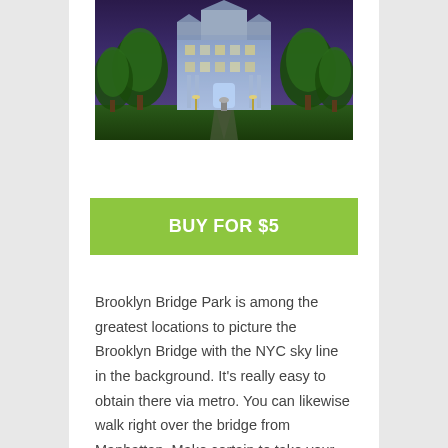[Figure (photo): Illuminated government or historic building at dusk/night with green trees flanking a central path leading to the entrance, lit up in blue and white lights]
BUY FOR $5
Brooklyn Bridge Park is among the greatest locations to picture the Brooklyn Bridge with the NYC sky line in the background. It’s really easy to obtain there via metro. You can likewise walk right over the bridge from Manhattan. Make certain to take your wide-angle lens and your tripod. Sunset and also “blue hr” are superb